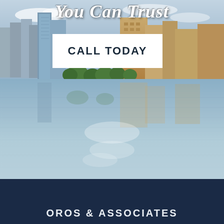You Can Trust
CALL TODAY
[Figure (photo): City skyline reflected in calm river water, with buildings and trees visible, blue sky with clouds reflected below]
OROS & ASSOCIATES